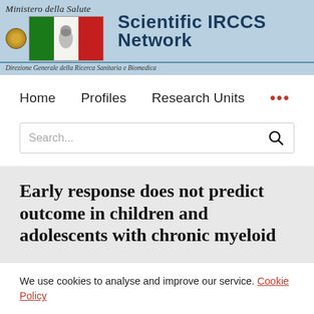Scientific IRCCS Network — Ministero della Salute — Direzione Generale della Ricerca Sanitaria e Biomedica
Home   Profiles   Research Units   ...
Search...
Early response does not predict outcome in children and adolescents with chronic myeloid
We use cookies to analyse and improve our service. Cookie Policy